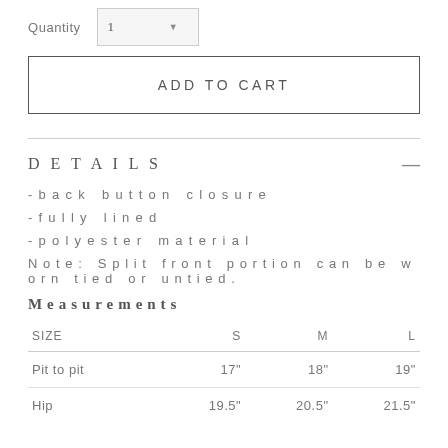Quantity  1
ADD TO CART
DETAILS
- back button closure
- fully lined
- polyester material
Note: Split front portion can be worn tied or untied.
Measurements
| SIZE | S | M | L |
| --- | --- | --- | --- |
| Pit to pit | 17" | 18" | 19" |
| Hip | 19.5" | 20.5" | 21.5" |